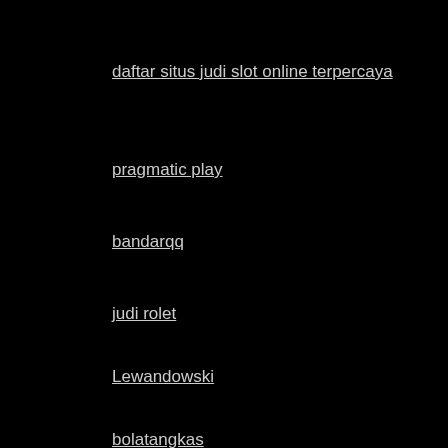daftar situs judi slot online terpercaya
pragmatic play
bandarqq
judi rolet
Lewandowski
bolatangkas
slot online